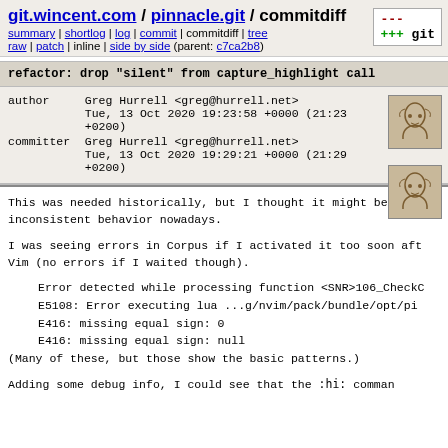git.wincent.com / pinnacle.git / commitdiff
summary | shortlog | log | commit | commitdiff | tree
raw | patch | inline | side by side (parent: c7ca2b8)
refactor: drop "silent" from capture_highlight call
|  |  |
| --- | --- |
| author | Greg Hurrell <greg@hurrell.net> |
|  | Tue, 13 Oct 2020 19:23:58 +0000 (21:23 +0200) |
| committer | Greg Hurrell <greg@hurrell.net> |
|  | Tue, 13 Oct 2020 19:29:21 +0000 (21:29 +0200) |
This was needed historically, but I thought it might be causing inconsistent behavior nowadays.

I was seeing errors in Corpus if I activated it too soon after Vim (no errors if I waited though).

Error detected while processing function <SNR>106_CheckC
E5108: Error executing lua ...g/nvim/pack/bundle/opt/pi
E416: missing equal sign: 0
E416: missing equal sign: null

(Many of these, but those show the basic patterns.)

Adding some debug info, I could see that the :hl: command...